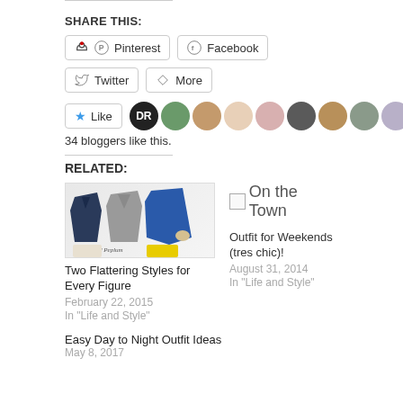SHARE THIS:
Pinterest | Facebook | Twitter | More (share buttons)
Like — 34 bloggers like this.
RELATED:
[Figure (photo): Tunics and peplum clothing collage showing navy, gray, blue, cream, and yellow tops]
Two Flattering Styles for Every Figure
February 22, 2015
In "Life and Style"
[Figure (photo): Broken image icon with alt text 'On the Town']
Outfit for Weekends (tres chic)!
August 31, 2014
In "Life and Style"
Easy Day to Night Outfit Ideas
May 8, 2017